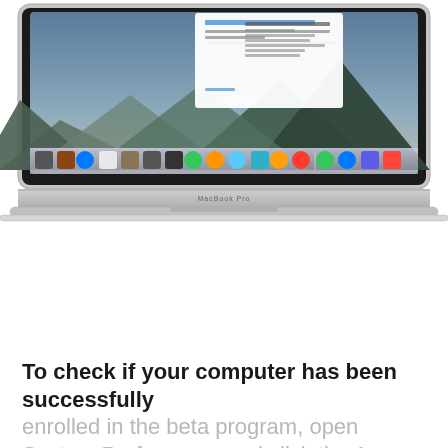[Figure (screenshot): MacBook Pro laptop showing macOS screen with an App Store update dialog visible on screen. The laptop has a silver aluminum body with the MacBook Pro label on the bottom bezel. The screen shows a blue mountain landscape (macOS Yosemite/El Capitan wallpaper) with a Dock at the bottom containing various app icons.]
To check if your computer has been successfully enrolled in the beta program, open System Preferences and click the App Store icon. A